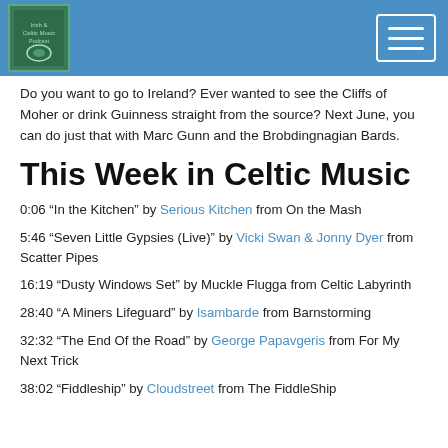Irish & Celtic Music Podcast header with logo and navigation button
Do you want to go to Ireland? Ever wanted to see the Cliffs of Moher or drink Guinness straight from the source? Next June, you can do just that with Marc Gunn and the Brobdingnagian Bards.
This Week in Celtic Music
0:06 “In the Kitchen” by Serious Kitchen from On the Mash
5:46 “Seven Little Gypsies (Live)” by Vicki Swan & Jonny Dyer from Scatter Pipes
16:19 “Dusty Windows Set” by Muckle Flugga from Celtic Labyrinth
28:40 “A Miners Lifeguard” by Isambarde from Barnstorming
32:32 “The End Of the Road” by George Papavgeris from For My Next Trick
38:02 “Fiddleship” by Cloudstreet from The FiddleShip